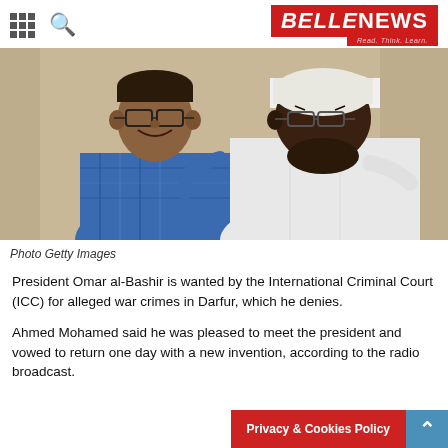BELLENEWS — Read. Think. Learn.
[Figure (photo): A young boy wearing glasses and a blue plaid shirt stands smiling next to an older man wearing white traditional garments and a white head covering.]
Photo Getty Images
President Omar al-Bashir is wanted by the International Criminal Court (ICC) for alleged war crimes in Darfur, which he denies.
Ahmed Mohamed said he was pleased to meet the president and vowed to return one day with a new invention, according to the radio broadcast.